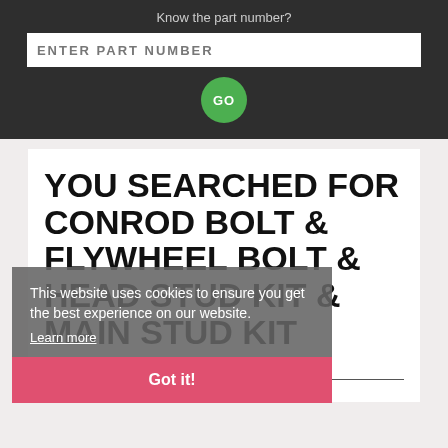Know the part number?
ENTER PART NUMBER
GO
YOU SEARCHED FOR CONROD BOLT & FLYWHEEL BOLT & HEAD STUD KIT & MAIN STUD KIT
This website uses cookies to ensure you get the best experience on our website.
Learn more
Got it!
The following parts are available
Part         Part